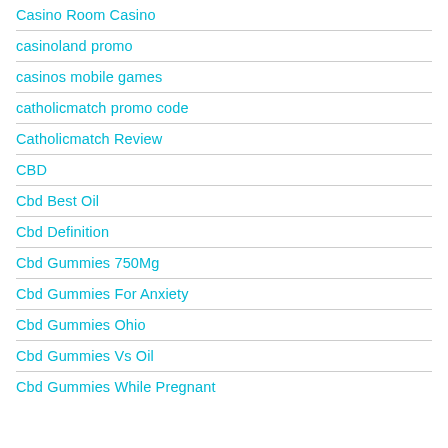Casino Room Casino
casinoland promo
casinos mobile games
catholicmatch promo code
Catholicmatch Review
CBD
Cbd Best Oil
Cbd Definition
Cbd Gummies 750Mg
Cbd Gummies For Anxiety
Cbd Gummies Ohio
Cbd Gummies Vs Oil
Cbd Gummies While Pregnant